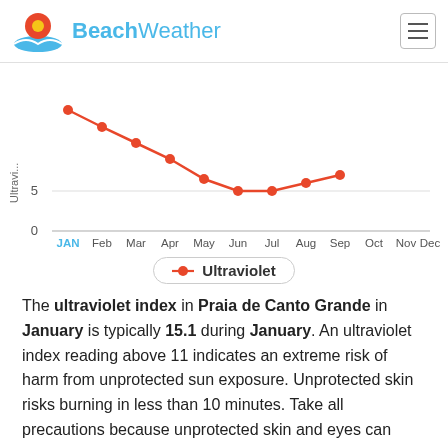BeachWeather
[Figure (line-chart): Ultraviolet]
Ultraviolet
The ultraviolet index in Praia de Canto Grande in January is typically 15.1 during January. An ultraviolet index reading above 11 indicates an extreme risk of harm from unprotected sun exposure. Unprotected skin risks burning in less than 10 minutes. Take all precautions because unprotected skin and eyes can burn in minutes. Tanning will be safest before 10am and after 4pm but only with a good application of sun screen. For those with sensitive skin stay in the shade and wear protective